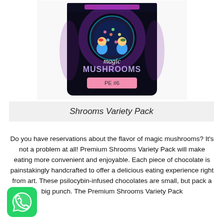[Figure (photo): Product photo of a black foil pouch labeled 'magic MUSHROOMS PE #6' with neon/retro-style artwork featuring two cartoon characters and a glowing disco ball on the packaging.]
Shrooms Variety Pack
Do you have reservations about the flavor of magic mushrooms? It's not a problem at all! Premium Shrooms Variety Pack will make eating more convenient and enjoyable. Each piece of chocolate is painstakingly handcrafted to offer a delicious eating experience right from art. These psilocybin-infused chocolates are small, but pack a big punch. The Premium Shrooms Variety Pack
[Figure (logo): WhatsApp logo icon — green circle with white phone/chat icon]